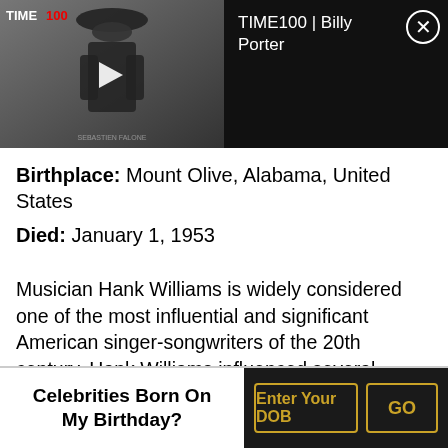[Figure (screenshot): Video player thumbnail showing TIME100 | Billy Porter video with a person in a wide-brimmed hat against dark background, with play button overlay and close button]
Birthplace: Mount Olive, Alabama, United States
Died: January 1, 1953
Musician Hank Williams is widely considered one of the most influential and significant American singer-songwriters of the 20th century. Hank Williams influenced several singers, such as Elvis Presley, Jerry Lee Lewis, Chuck Berry, Johnny Cash, and Charley Pride to name a few. Since his untimely death at the age of 29, many artists have released tribute albums honoring Hank Williams.
Celebrities Born On My Birthday?
Enter Your DOB
GO